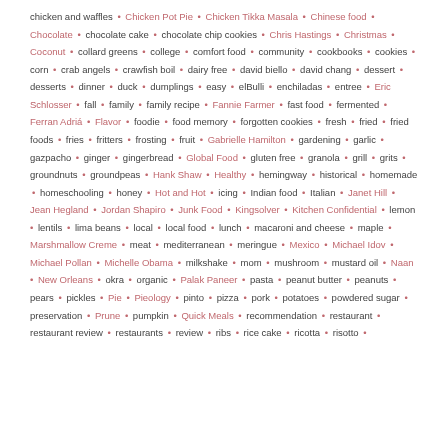chicken and waffles • Chicken Pot Pie • Chicken Tikka Masala • Chinese food • Chocolate • chocolate cake • chocolate chip cookies • Chris Hastings • Christmas • Coconut • collard greens • college • comfort food • community • cookbooks • cookies • corn • crab angels • crawfish boil • dairy free • david biello • david chang • dessert • desserts • dinner • duck • dumplings • easy • elBulli • enchiladas • entree • Eric Schlosser • fall • family • family recipe • Fannie Farmer • fast food • fermented • Ferran Adrià • Flavor • foodie • food memory • forgotten cookies • fresh • fried • fried foods • fries • fritters • frosting • fruit • Gabrielle Hamilton • gardening • garlic • gazpacho • ginger • gingerbread • Global Food • gluten free • granola • grill • grits • groundnuts • groundpeas • Hank Shaw • Healthy • hemingway • historical • homemade • homeschooling • honey • Hot and Hot • icing • Indian food • Italian • Janet Hill • Jean Hegland • Jordan Shapiro • Junk Food • Kingsolver • Kitchen Confidential • lemon • lentils • lima beans • local • local food • lunch • macaroni and cheese • maple • Marshmallow Creme • meat • mediterranean • meringue • Mexico • Michael Idov • Michael Pollan • Michelle Obama • milkshake • mom • mushroom • mustard oil • Naan • New Orleans • okra • organic • Palak Paneer • pasta • peanut butter • peanuts • pears • pickles • Pie • Pieology • pinto • pizza • pork • potatoes • powdered sugar • preservation • Prune • pumpkin • Quick Meals • recommendation • restaurant • restaurant review • restaurants • review • ribs • rice cake • ricotta • risotto •